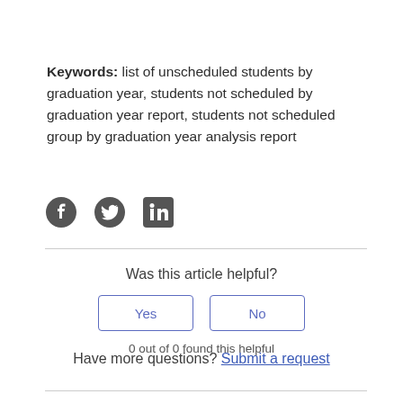Keywords: list of unscheduled students by graduation year, students not scheduled by graduation year report, students not scheduled group by graduation year analysis report
[Figure (other): Social media sharing icons: Facebook, Twitter, LinkedIn]
Was this article helpful?
Yes / No buttons
0 out of 0 found this helpful
Have more questions? Submit a request